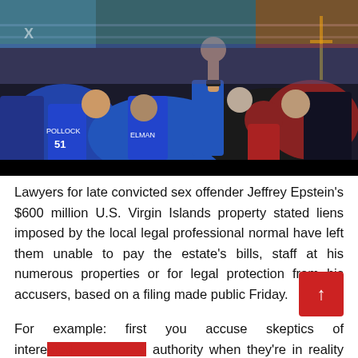[Figure (photo): A photo of a football stadium crowd with fans in blue jerseys cheering, arms raised, with a football field visible in the background.]
Lawyers for late convicted sex offender Jeffrey Epstein's $600 million U.S. Virgin Islands property stated liens imposed by the local legal professional normal have left them unable to pay the estate's bills, staff at his numerous properties or for legal protection from his accusers, based on a filing made public Friday.
For example: first you accuse skeptics of interest[...] authority when they're in reality challengi[...] authorities in climate science; after which in your final